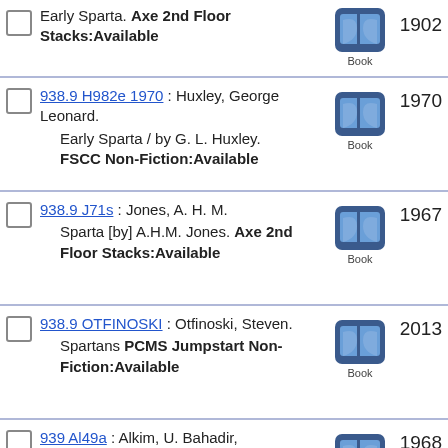Early Sparta. Axe 2nd Floor Stacks:Available 1902
938.9 H982e 1970 : Huxley, George Leonard. Early Sparta / by G. L. Huxley. FSCC Non-Fiction:Available 1970
938.9 J71s : Jones, A. H. M. Sparta [by] A.H.M. Jones. Axe 2nd Floor Stacks:Available 1967
938.9 OTFINOSKI : Otfinoski, Steven. Spartans PCMS Jumpstart Non-Fiction:Available 2013
939 Al49a : Alkim, U. Bahadir, Anatolia / [by] U. Bahadir Alkim ; translated from the French by James Hogarth. Axe 2nd Floor Stacks:Available 1968